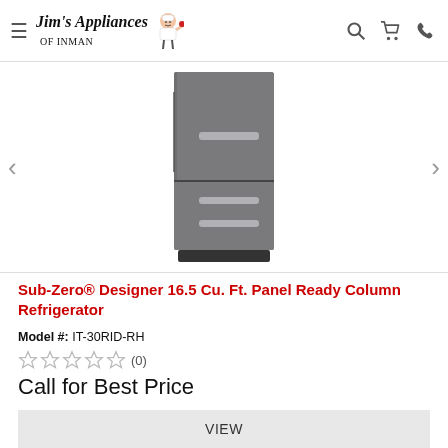Jim's Appliances of Inman
[Figure (photo): Sub-Zero panel-ready column refrigerator, dark gray, with two drawer handles at the bottom]
Sub-Zero® Designer 16.5 Cu. Ft. Panel Ready Column Refrigerator
Model #: IT-30RID-RH
★★★★★ (0)
Call for Best Price
VIEW